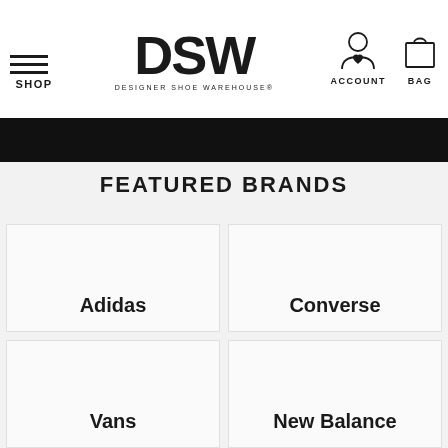SHOP | DSW DESIGNER SHOE WAREHOUSE | ACCOUNT | BAG
FEATURED BRANDS
[Figure (other): Brand tile for Adidas]
[Figure (other): Brand tile for Converse]
[Figure (other): Brand tile for Vans]
[Figure (other): Brand tile for New Balance]